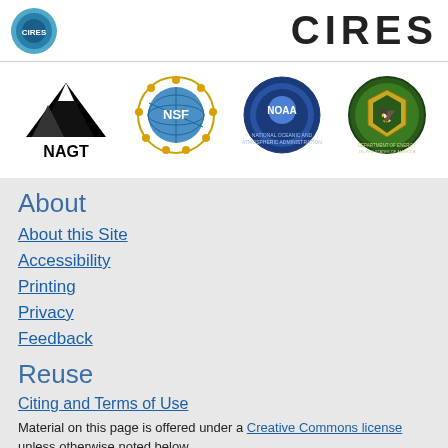[Figure (logo): CIRES/NOAA circular logo (blue) and CIRES text header]
[Figure (logo): Four logos in a row: NAGT (mountains), NSF (globe with stars), NOAA (circular blue seal), Department of Energy (circular seal)]
About
About this Site
Accessibility
Printing
Privacy
Feedback
Reuse
Citing and Terms of Use
Material on this page is offered under a Creative Commons license unless otherwise noted below.
Show terms of use for text on this page »